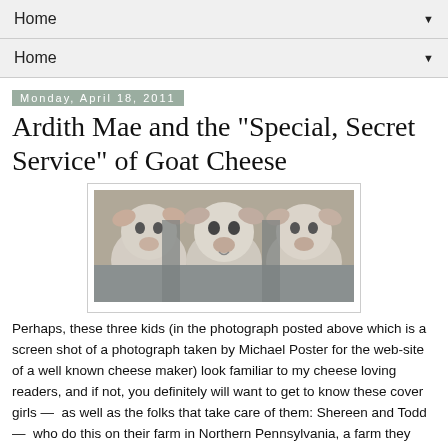Home ▼
Home ▼
Monday, April 18, 2011
Ardith Mae and the "Special, Secret Service" of Goat Cheese
[Figure (photo): Three white goats looking forward through a fence, photograph credited to Michael Poster for a cheese maker's website]
Perhaps, these three kids (in the photograph posted above which is a screen shot of a photograph taken by Michael Poster for the web-site of a well known cheese maker) look familiar to my cheese loving readers, and if not, you definitely will want to get to know these cover girls —  as well as the folks that take care of them: Shereen and Todd —  who do this on their farm in Northern Pennsylvania, a farm they bought after living in Brooklyn and working in the city.  On their farm they allow "animals to be animals" as they